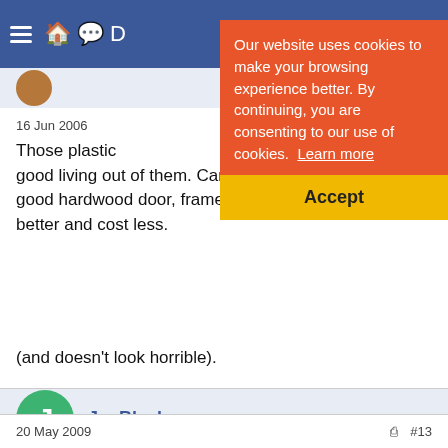Navigation bar with hamburger menu and icons
16 Jun 2006
Those plastic ... making a good living out of them. Can't understand it myself, a good hardwood door, frame, hinges and locks will be better and cost less.
(and doesn't look horrible).
[Figure (screenshot): Cookie consent banner overlay: orange background with text 'Our website uses cookies to make your browsing experience better. By continuing, you are consenting to our use of cookies. Learn more' and a yellow Accept button.]
JoeBlack
20 May 2009   #13